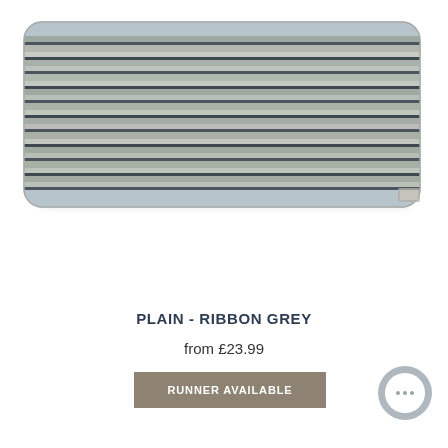[Figure (photo): A rectangular rug sample photographed at slight angle showing horizontal stripes in shades of grey, beige and dark grey/black, with a light blue-grey border edge. The rug appears to be a mat or runner with a ribbed texture.]
PLAIN - RIBBON GREY
from £23.99
RUNNER AVAILABLE